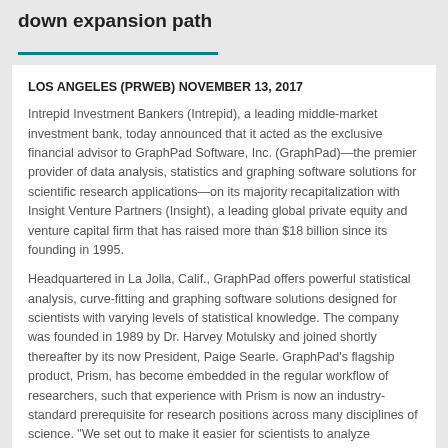down expansion path
LOS ANGELES (PRWEB) NOVEMBER 13, 2017
Intrepid Investment Bankers (Intrepid), a leading middle-market investment bank, today announced that it acted as the exclusive financial advisor to GraphPad Software, Inc. (GraphPad)—the premier provider of data analysis, statistics and graphing software solutions for scientific research applications—on its majority recapitalization with Insight Venture Partners (Insight), a leading global private equity and venture capital firm that has raised more than $18 billion since its founding in 1995.
Headquartered in La Jolla, Calif., GraphPad offers powerful statistical analysis, curve-fitting and graphing software solutions designed for scientists with varying levels of statistical knowledge. The company was founded in 1989 by Dr. Harvey Motulsky and joined shortly thereafter by its now President, Paige Searle. GraphPad's flagship product, Prism, has become embedded in the regular workflow of researchers, such that experience with Prism is now an industry-standard prerequisite for research positions across many disciplines of science. "We set out to make it easier for scientists to analyze